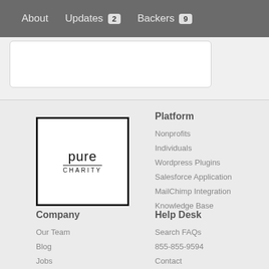About  Updates 2  Backers 9
[Figure (logo): Pure Charity logo: white box with black border, text 'pure' above 'CHARITY' with dividing line]
Platform
Nonprofits
Individuals
Wordpress Plugins
Salesforce Application
MailChimp Integration
Knowledge Base
Company
Our Team
Blog
Jobs
Help Desk
Search FAQs
855-855-9594
Contact